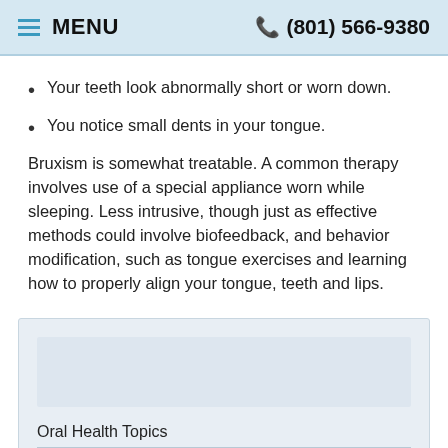MENU   (801) 566-9380
Your teeth look abnormally short or worn down.
You notice small dents in your tongue.
Bruxism is somewhat treatable. A common therapy involves use of a special appliance worn while sleeping. Less intrusive, though just as effective methods could involve biofeedback, and behavior modification, such as tongue exercises and learning how to properly align your tongue, teeth and lips.
Oral Health Topics
Tooth Care